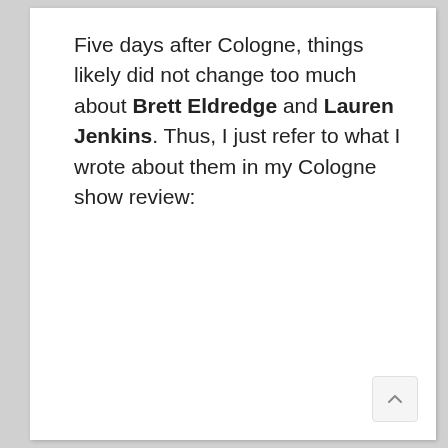Five days after Cologne, things likely did not change too much about Brett Eldredge and Lauren Jenkins. Thus, I just refer to what I wrote about them in my Cologne show review: